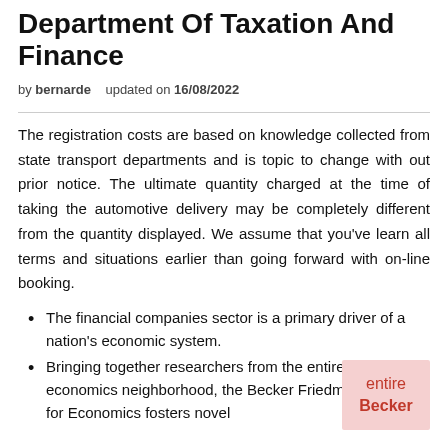Department Of Taxation And Finance
by bernarde   updated on 16/08/2022
The registration costs are based on knowledge collected from state transport departments and is topic to change with out prior notice. The ultimate quantity charged at the time of taking the automotive delivery may be completely different from the quantity displayed. We assume that you’ve learn all terms and situations earlier than going forward with on-line booking.
The financial companies sector is a primary driver of a nation’s economic system.
Bringing together researchers from the entire Chicago economics neighborhood, the Becker Friedman Institute for Economics fosters novel